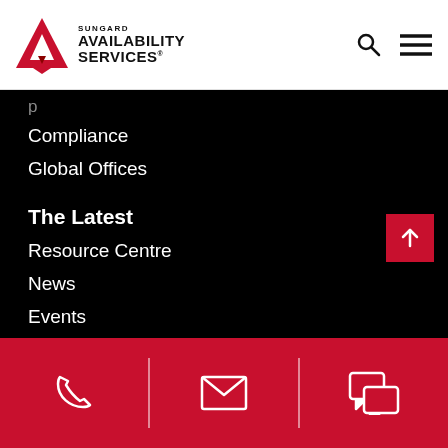[Figure (logo): Sungard Availability Services logo with red geometric A shape and company name]
Compliance
Global Offices
The Latest
Resource Centre
News
Events
Sungard AS Blog
Contact
[Figure (infographic): Red footer bar with phone, email, and chat icons separated by white dividers]